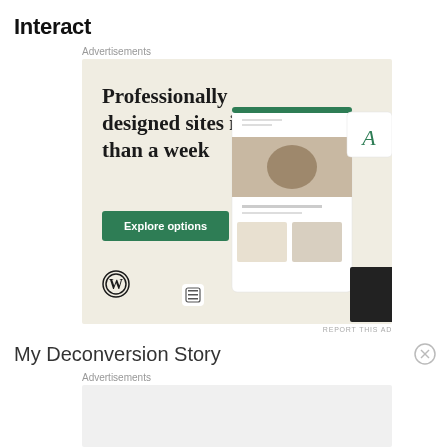Interact
Advertisements
[Figure (screenshot): WordPress advertisement showing 'Professionally designed sites in less than a week' with an Explore options button, WordPress logo, and website mockup screenshots on a beige background.]
REPORT THIS AD
My Deconversion Story
Advertisements
[Figure (other): Empty advertisement placeholder with light grey background.]
REPORT THIS AD